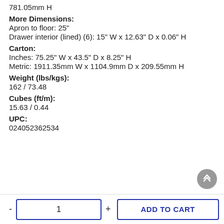781.05mm H
More Dimensions:
Apron to floor: 25"
Drawer interior (lined) (6): 15" W x 12.63" D x 0.06" H
Carton:
Inches: 75.25" W x 43.5" D x 8.25" H
Metric: 1911.35mm W x 1104.9mm D x 209.55mm H
Weight (lbs/kgs):
162 / 73.48
Cubes (ft/m):
15.63 / 0.44
UPC:
024052362534